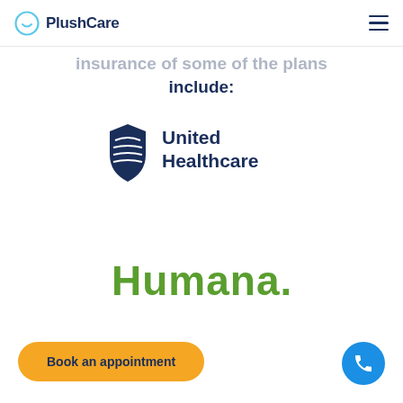PlushCare
include:
[Figure (logo): United Healthcare logo with shield icon and text 'United Healthcare']
[Figure (logo): Humana logo in green text reading 'Humana.']
Book an appointment